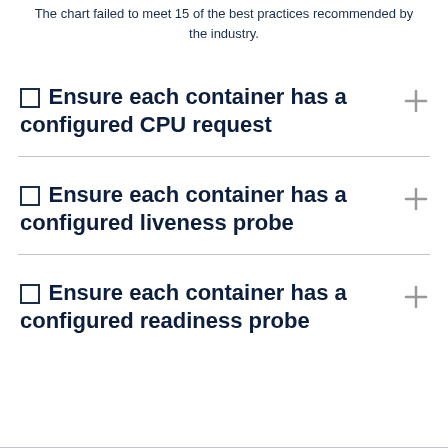The chart failed to meet 15 of the best practices recommended by the industry.
Ensure each container has a configured CPU request
Ensure each container has a configured liveness probe
Ensure each container has a configured readiness probe